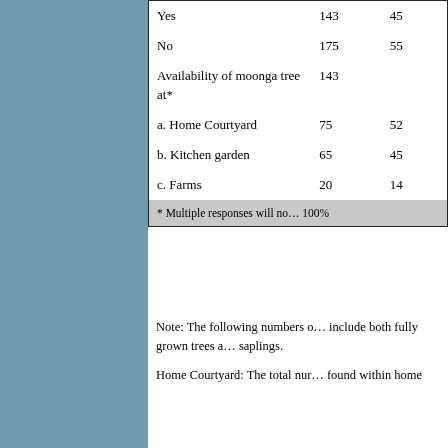|  | N | % |
| --- | --- | --- |
| Yes | 143 | 45 |
| No | 175 | 55 |
| Availability of moonga tree at* | 143 |  |
| a. Home Courtyard | 75 | 52 |
| b. Kitchen garden | 65 | 45 |
| c. Farms | 20 | 14 |
* Multiple responses will no… 100%
Note: The following numbers o… include both fully grown trees a… saplings.
Home Courtyard: The total nur… found within home